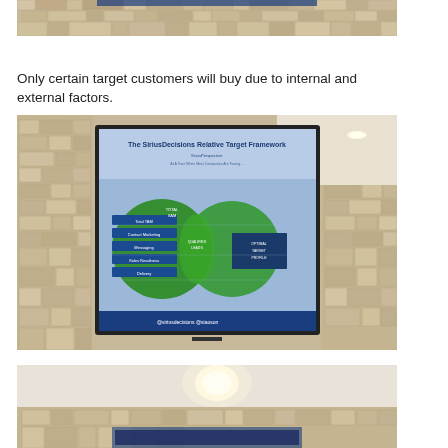[Figure (photo): Partial photo of a conference room wall with decorative tile/brick pattern and ceiling, top portion of a TV screen visible]
Only certain target customers will buy due to internal and external factors.
[Figure (photo): Photo of a TV screen mounted on a decorative tile wall in a conference room, displaying a SiriusDecisions Relative Target Framework slide with blue background, green circular diagram, and blue text boxes listing various categories. Text visible: 'The SiriusDecisions Relative Target Framework', 'SiriusPerspective:', '@siriusdecisions @siauson']
[Figure (photo): Partial photo of conference room ceiling and decorative wall with a TV screen partially visible at the bottom]